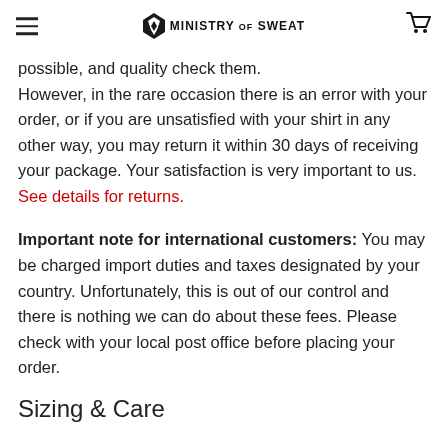Ministry of Sweat
possible, and quality check them. However, in the rare occasion there is an error with your order, or if you are unsatisfied with your shirt in any other way, you may return it within 30 days of receiving your package. Your satisfaction is very important to us. See details for returns.
Important note for international customers: You may be charged import duties and taxes designated by your country. Unfortunately, this is out of our control and there is nothing we can do about these fees. Please check with your local post office before placing your order.
Sizing & Care